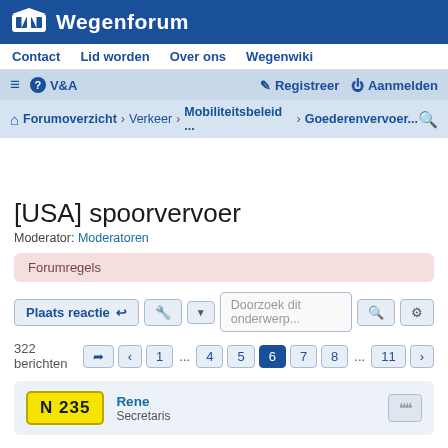Wegenforum
Contact  Lid worden  Over ons  Wegenwiki
≡  ?  V&A    ✎ Registreer  ⏻ Aanmelden
Forumoverzicht › Verkeer › Mobiliteitsbeleid ... › Goederenvervoer...
[USA] spoorvervoer
Moderator: Moderatoren
Forumregels
Plaats reactie  🔧 ▼  Doorzoek dit onderwerp...  🔍  ⚙
322 berichten  ➦  ‹  1  ...  4  5  6  7  8  ...  11  ›
N 235  Rene  Secretaris